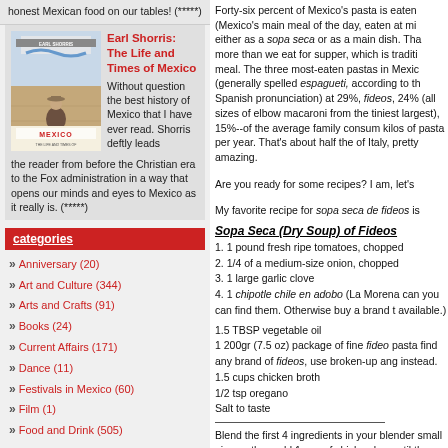honest Mexican food on our tables! (*****)
[Figure (illustration): Book cover for 'Earl Shorris: The Life and Times of Mexico' with image of man sitting against adobe wall]
Earl Shorris: The Life and Times of Mexico
Without question the best history of Mexico that I have ever read. Shorris deftly leads the reader from before the Christian era to the Fox administration in a way that opens our minds and eyes to Mexico as it really is. (*****)
categories
Anniversary (20)
Art and Culture (344)
Arts and Crafts (91)
Books (24)
Current Affairs (171)
Dance (11)
Festivals in Mexico (60)
Film (1)
Food and Drink (505)
Forty-six percent of Mexico's pasta is eaten (Mexico's main meal of the day, eaten at mi either as a sopa seca or as a main dish. Tha more than we eat for supper, which is traditi meal. The three most-eaten pastas in Mexic (generally spelled espagueti, according to th Spanish pronunciation) at 29%, fideos, 24% (all sizes of elbow macaroni from the tiniest largest), 15%--of the average family consum kilos of pasta per year. That's about half the of Italy, pretty amazing.
Are you ready for some recipes? I am, let's
My favorite recipe for sopa seca de fideos is
Sopa Seca (Dry Soup) of Fideos
1. 1 pound fresh ripe tomatoes, chopped
2. 1/4 of a medium-size onion, chopped
3. 1 large garlic clove
4. 1 chipotle chile en adobo (La Morena can you can find them. Otherwise buy a brand t available.)
1.5 TBSP vegetable oil
1 200gr (7.5 oz) package of fine fideo pasta find any brand of fideos, use broken-up ang instead.
1.5 cups chicken broth
1/2 tsp oregano
Salt to taste
Blend the first 4 ingredients in your blender small pieces, then add 1 cup of chicken bro until the sauce is smooth.